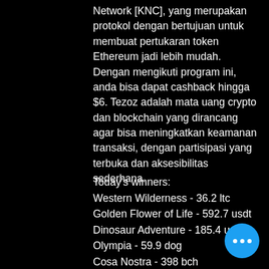Network [KNC], yang merupakan protokol dengan bertujuan untuk membuat pertukaran token Ethereum jadi lebih mudah. Dengan mengikuti program ini, anda bisa dapat cashback hingga $6. Tezoz adalah mata uang crypto dan blockchain yang dirancang agar bisa meningkatkan keamanan transaksi, dengan partisipasi yang terbuka dan aksesibilitas sederhana.
Today's winners:
Western Wilderness - 36.2 ltc
Golden Flower of Life - 592.7 usdt
Dinosaur Adventure - 185.4 usdt
Olympia - 59.9 dog
Cosa Nostra - 398 bch
Wild Hills - 178.5 dog
Fountain of Fortune - 582.8 ltc
Satoshi's Secret - 748.9 bch
Xcalibur - 341.4 usdt
Kung fu Furry - 568.1 ltc
The Rat Pack - 34.4 btc